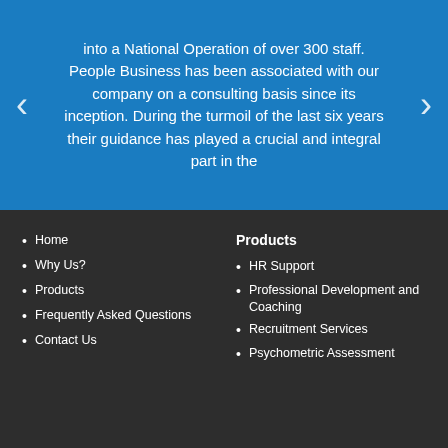into a National Operation of over 300 staff. People Business has been associated with our company on a consulting basis since its inception. During the turmoil of the last six years their guidance has played a crucial and integral part in the
Home
Why Us?
Products
Frequently Asked Questions
Contact Us
Products
HR Support
Professional Development and Coaching
Recruitment Services
Psychometric Assessment